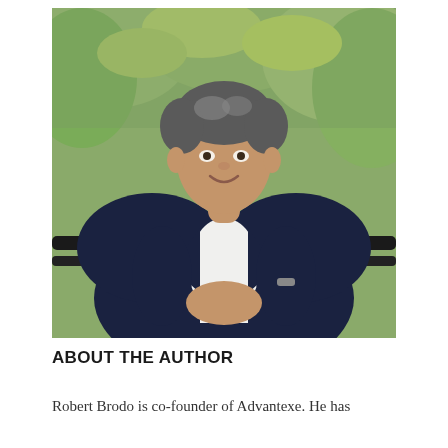[Figure (photo): Professional headshot of Robert Brodo, a middle-aged man with gray-streaked dark hair, wearing a dark navy blazer over a white open-collar shirt. He is leaning on a metal railing, smiling at the camera, with a blurred autumn foliage background of green and yellow leaves.]
ABOUT THE AUTHOR
Robert Brodo is co-founder of Advantexe. He has